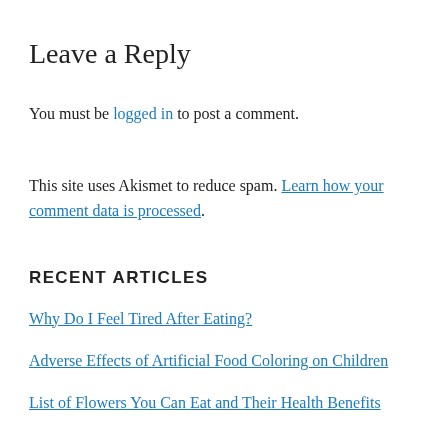Leave a Reply
You must be logged in to post a comment.
This site uses Akismet to reduce spam. Learn how your comment data is processed.
RECENT ARTICLES
Why Do I Feel Tired After Eating?
Adverse Effects of Artificial Food Coloring on Children
List of Flowers You Can Eat and Their Health Benefits